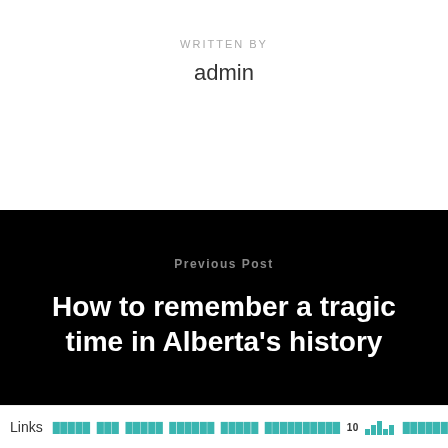WRITTEN BY
admin
Previous Post
How to remember a tragic time in Alberta's history
Links  [nav items]  10  [icons]